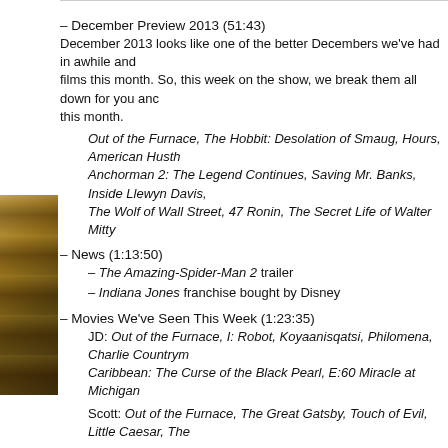– December Preview 2013 (51:43)
December 2013 looks like one of the better Decembers we've had in awhile and there are a ton of great films this month. So, this week on the show, we break them all down for you and give you our picks for this month.
Out of the Furnace, The Hobbit: Desolation of Smaug, Hours, American Hustle, Anchorman 2: The Legend Continues, Saving Mr. Banks, Inside Llewyn Davis, The Wolf of Wall Street, 47 Ronin, The Secret Life of Walter Mitty
– News (1:13:50)
– The Amazing-Spider-Man 2 trailer
– Indiana Jones franchise bought by Disney
– Movies We've Seen This Week (1:23:35)
JD: Out of the Furnace, I: Robot, Koyaanisqatsi, Philomena, Charlie Countryman, Pirates of the Caribbean: The Curse of the Black Pearl, E:60 Miracle at Michigan
Scott: Out of the Furnace, The Great Gatsby, Touch of Evil, Little Caesar, The...
Drew: Out of the Furnace, Pacific Rim, World War Z, This is the End, Inside L...
– Music
Out of the Furnace – Dickon Hinchliffe
Kill Bill: Battle Without Honor – Tomoyasu Hotei
Good Times Bad Times – Led Zepagain
Indiana Jones End Credits – John Williams